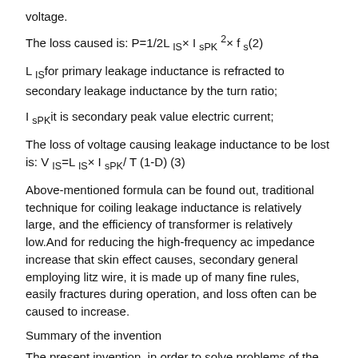voltage.
The loss caused is: P=1/2L_IS × I_sPK^2 × f_s(2)
L_IS for primary leakage inductance is refracted to secondary leakage inductance by the turn ratio;
I_sPK it is secondary peak value electric current;
The loss of voltage causing leakage inductance to be lost is: V_IS=L_IS× I_sPK/ T (1-D) (3)
Above-mentioned formula can be found out, traditional technique for coiling leakage inductance is relatively large, and the efficiency of transformer is relatively low.And for reducing the high-frequency ac impedance increase that skin effect causes, secondary general employing litz wire, it is made up of many fine rules, easily fractures during operation, and loss often can be caused to increase.
Summary of the invention
The present invention, in order to solve problems of the prior art, provides a kind of transformer.